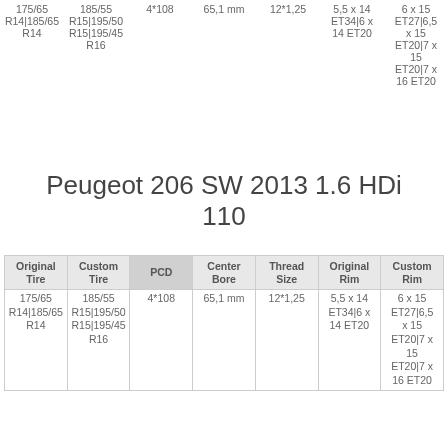| Original Tire | Custom Tire | PCD | Center Bore | Thread Size | Original Rim | Custom Rim |
| --- | --- | --- | --- | --- | --- | --- |
| 175/65 R14|185/65 R14 | 185/55 R15|195/50 R15|195/45 R16 | 4*108 | 65,1 mm | 12*1,25 | 5,5 x 14 ET34|6 x 14 ET20 | 6 x 15 ET27|6,5 x 15 ET20|7 x 15 ET20|7 x 16 ET20 |
Peugeot 206 SW 2013 1.6 HDi 110
| Original Tire | Custom Tire | PCD | Center Bore | Thread Size | Original Rim | Custom Rim |
| --- | --- | --- | --- | --- | --- | --- |
| 175/65 R14|185/65 R14 | 185/55 R15|195/50 R15|195/45 R16 | 4*108 | 65,1 mm | 12*1,25 | 5,5 x 14 ET34|6 x 14 ET20 | 6 x 15 ET27|6,5 x 15 ET20|7 x 15 ET20|7 x 16 ET20 |